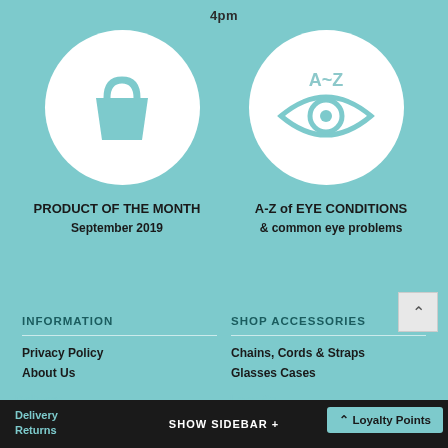4pm
[Figure (illustration): White circle with a teal shopping bag icon]
[Figure (illustration): White circle with a teal eye icon and A~Z text above]
PRODUCT OF THE MONTH
September 2019
A-Z of EYE CONDITIONS
& common eye problems
INFORMATION
SHOP ACCESSORIES
Privacy Policy
Chains, Cords & Straps
About Us
Glasses Cases
Delivery
Lens So...
Returns
SHOW SIDEBAR +  ^ Loyalty Points